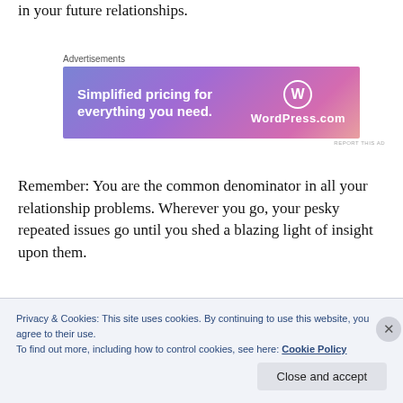in your future relationships.
[Figure (other): WordPress.com advertisement banner with gradient purple-pink background. Left side: 'Simplified pricing for everything you need.' Right side: WordPress logo and WordPress.com text.]
Remember: You are the common denominator in all your relationship problems. Wherever you go, your pesky repeated issues go until you shed a blazing light of insight upon them.
I recently read an article on cnn.com that made some
Privacy & Cookies: This site uses cookies. By continuing to use this website, you agree to their use.
To find out more, including how to control cookies, see here: Cookie Policy